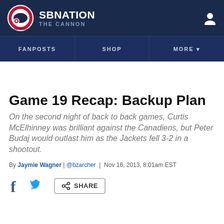SB NATION | THE CANNON
FANPOSTS | SHOP | MORE
Game 19 Recap: Backup Plan
On the second night of back to back games, Curtis McElhinney was brilliant against the Canadiens, but Peter Budaj would outlast him as the Jackets fell 3-2 in a shootout.
By Jaymie Wagner | @bzarcher | Nov 16, 2013, 8:01am EST
SHARE